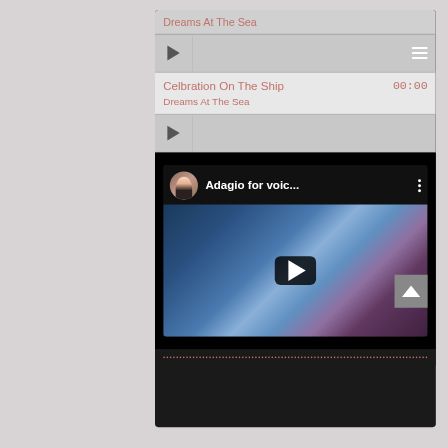Dreams At The Sea
[Figure (screenshot): Music player interface showing a play button and hamburger menu icon]
Celbration On The Ship  00:00
Dreams At The Sea
[Figure (screenshot): Music player row with play button]
[Figure (screenshot): YouTube video embed showing 'Adagio for voic...' with circular avatar, three-dot menu, and video thumbnail with play button overlay. Background is an artistic blue/purple painting with a figure.]
[Figure (screenshot): Back to top button (upward chevron arrow on gray square)]
Dotted line separator